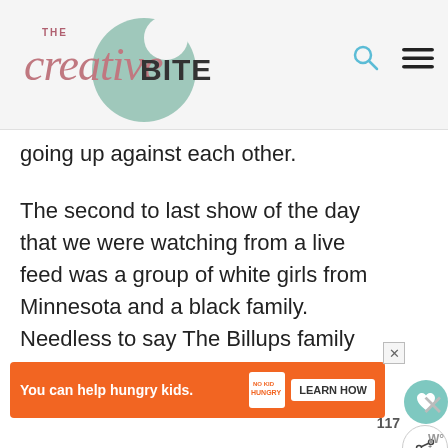[Figure (logo): The Creative Bite logo with cursive 'the creative' text in rose/mauve color and 'BITE' in bold sans-serif, overlaid on a sage green circle. Search and hamburger menu icons on the right.]
going up against each other.
The second to last show of the day that we were watching from a live feed was a group of white girls from Minnesota and a black family. Needless to say The Billups family and our pasty white family were cheering for different teams to win in hopes of our families being selected! ☺ There was no way they were go… ac…
[Figure (other): Orange advertisement banner: 'You can help hungry kids.' with No Kid Hungry logo and a 'LEARN HOW' button.]